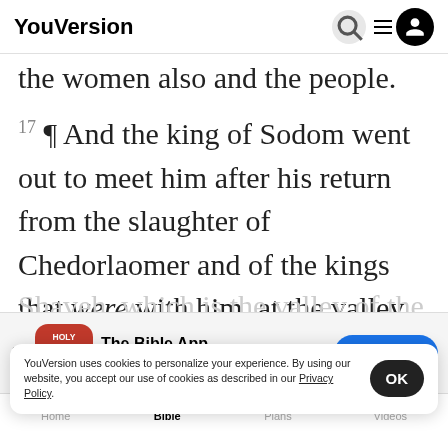YouVersion
the women also and the people.
17 ¶ And the king of Sodom went out to meet him after his return from the slaughter of Chedorlaomer and of the kings that were with him, at the valley of Shaveh, which is the valley of the king
[Figure (screenshot): App download banner for The Bible App with Holy Bible icon, 5 stars, 7.9M rating, and Download button]
read and wine, for he was the priest of
most hi
19 An
YouVersion uses cookies to personalize your experience. By using our website, you accept our use of cookies as described in our Privacy Policy.
Home  Bible  Plans  Videos